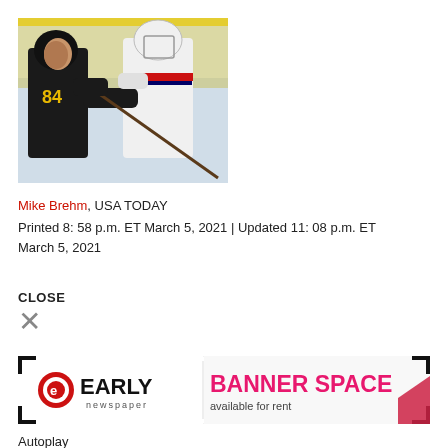[Figure (photo): Two ice hockey players in a physical altercation on the ice. One player wearing a black jersey with number 84, the other in a white jersey with red accents.]
Mike Brehm, USA TODAY
Printed 8: 58 p.m. ET March 5, 2021 | Updated 11: 08 p.m. ET March 5, 2021
CLOSE
×
[Figure (logo): Early Newspaper logo on the left, Banner Space available for rent advertisement on the right]
Autoplay